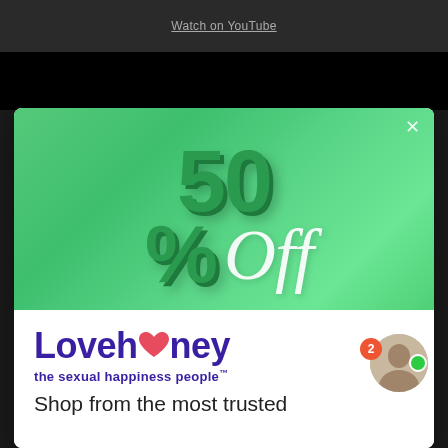Watch on YouTube
[Figure (screenshot): Black video player area]
[Figure (infographic): Green promotional modal showing '50% Off' in large 3D text on a green gradient background with a close (X) button]
[Figure (logo): Lovehoney logo with heart icon and tagline 'the sexual happiness people']
Shop from the most trusted